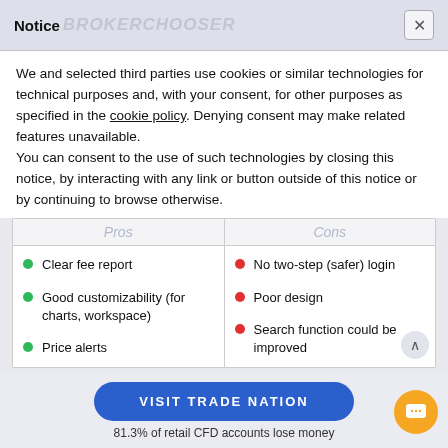Notice — BROKERCHOOSER
We and selected third parties use cookies or similar technologies for technical purposes and, with your consent, for other purposes as specified in the cookie policy. Denying consent may make related features unavailable. You can consent to the use of such technologies by closing this notice, by interacting with any link or button outside of this notice or by continuing to browse otherwise.
| Pros | Cons |
| --- | --- |
| Clear fee report | No two-step (safer) login |
| Good customizability (for charts, workspace) | Poor design |
| Price alerts | Search function could be improved |
VISIT TRADE NATION
81.3% of retail CFD accounts lose money